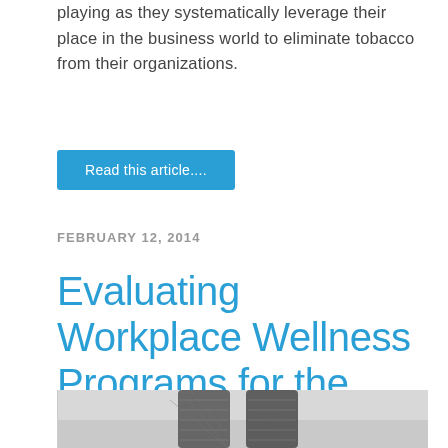playing as they systematically leverage their place in the business world to eliminate tobacco from their organizations.
Read this article....
FEBRUARY 12, 2014
Evaluating Workplace Wellness Programs for the Future
[Figure (photo): Person wearing patterned athletic leggings/tights, photo cropped at mid-section showing legs against a blurred outdoor background]